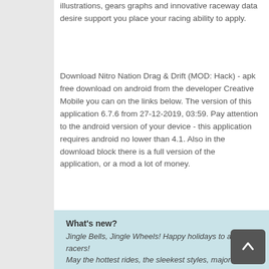illustrations, gears graphs and innovative raceway data desire support you place your racing ability to apply.
Download Nitro Nation Drag & Drift (MOD: Hack) - apk free download on android from the developer Creative Mobile you can on the links below. The version of this application 6.7.6 from 27-12-2019, 03:59. Pay attention to the android version of your device - this application requires android no lower than 4.1. Also in the download block there is a full version of the application, or a mod a lot of money.
What's new?
Jingle Bells, Jingle Wheels! Happy holidays to all racers!
May the hottest rides, the sleekest styles, major wins and record times, and maximum achievements all be yours!
Log in to celebrate and enjoy pleasant